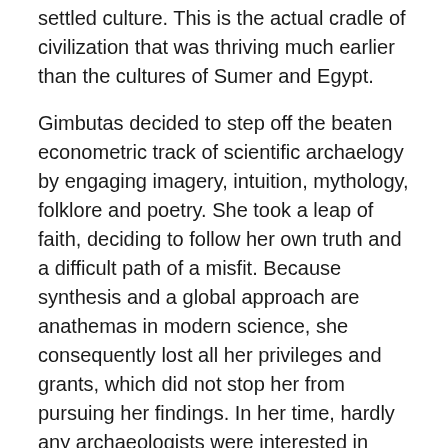settled culture. This is the actual cradle of civilization that was thriving much earlier than the cultures of Sumer and Egypt.
Gimbutas decided to step off the beaten econometric track of scientific archaelogy by engaging imagery, intuition, mythology, folklore and poetry. She took a leap of faith, deciding to follow her own truth and a difficult path of a misfit. Because synthesis and a global approach are anathemas in modern science, she consequently lost all her privileges and grants, which did not stop her from pursuing her findings. In her time, hardly any archaeologists were interested in such intangible, unquantifiable matters. Gimbutas, however, even before her emigration to the US, used to collect beautiful folk songs, called Dainos in Lithuanian. She poetically